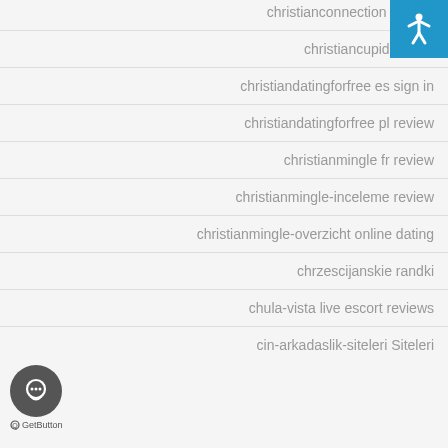christianconnection visitors
christiancupid review
christiandatingforfree es sign in
christiandatingforfree pl review
christianmingle fr review
christianmingle-inceleme review
christianmingle-overzicht online dating
chrzescijanskie randki
chula-vista live escort reviews
cin-arkadaslik-siteleri Siteleri